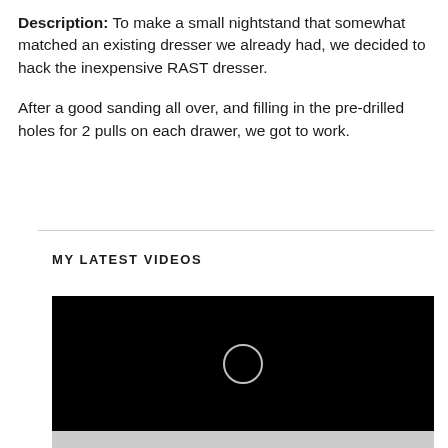Description: To make a small nightstand that somewhat matched an existing dresser we already had, we decided to hack the inexpensive RAST dresser.

After a good sanding all over, and filling in the pre-drilled holes for 2 pulls on each drawer, we got to work.
MY LATEST VIDEOS
[Figure (screenshot): A video player with a black screen and a circular play button icon in the center, with a grey loading/control bar at the bottom.]